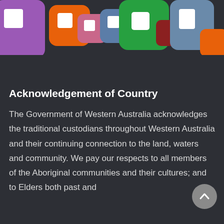[Figure (illustration): Colourful rounded square icons banner at top of page — purple, orange, pink, blue/steel, green, dark red/maroon, light blue/grey, orange — arranged in a row with white square cutouts, government app icons style header]
Acknowledgement of Country
The Government of Western Australia acknowledges the traditional custodians throughout Western Australia and their continuing connection to the land, waters and community. We pay our respects to all members of the Aboriginal communities and their cultures; and to Elders both past and